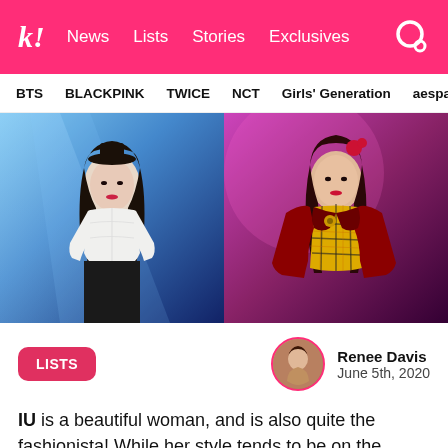k! News Lists Stories Exclusives
BTS BLACKPINK TWICE NCT Girls' Generation aespa
[Figure (photo): Two side-by-side concert photos of IU. Left: IU performing in a white blouse and black skirt under blue stage lights. Right: IU performing in a yellow plaid dress with a large red leather jacket under pink/purple stage lights.]
LISTS
Renee Davis
June 5th, 2020
IU is a beautiful woman, and is also quite the fashionista! While her style tends to be on the